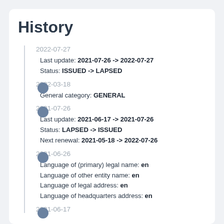History
2022-07-27
Last update: 2021-07-26 -> 2022-07-27
Status: ISSUED -> LAPSED
2022-03-18
General category: GENERAL
2021-07-26
Last update: 2021-06-17 -> 2021-07-26
Status: LAPSED -> ISSUED
Next renewal: 2021-05-18 -> 2022-07-26
2021-06-26
Language of (primary) legal name: en
Language of other entity name: en
Language of legal address: en
Language of headquarters address: en
2021-06-17